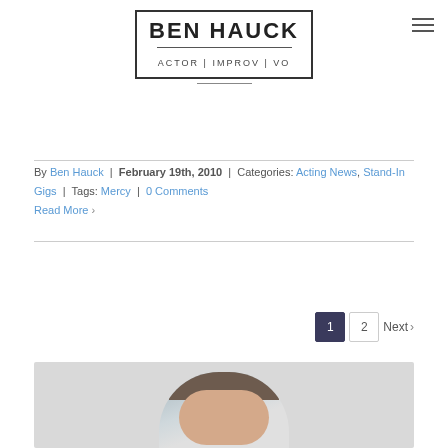[Figure (logo): Ben Hauck logo — bordered box with name BEN HAUCK, horizontal rule, and tagline ACTOR | IMPROV | VO]
By Ben Hauck | February 19th, 2010 | Categories: Acting News, Stand-In Gigs | Tags: Mercy | 0 Comments
Read More ›
1  2  Next ›
[Figure (photo): Headshot photo of a man with short brown hair, partially visible from top of frame]